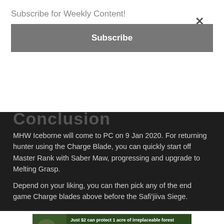Subscribe for Weekly Content!
Subscribe
Conclusion
MHW Iceborne will come to PC on 9 Jan 2020. For returning hunter using the Charge Blade, you can quickly start off Master Rank with Saber Maw, progressing and upgrade to Melting Grasp.
Depend on your liking, you can then pick any of the end game Charge blades above before the Safi'jiiva Siege.
[Figure (infographic): Advertisement banner: Just $2 can protect 1 acre of irreplaceable forest homes in the Amazon. How many acres are you willing to protect? PROTECT FORESTS NOW]